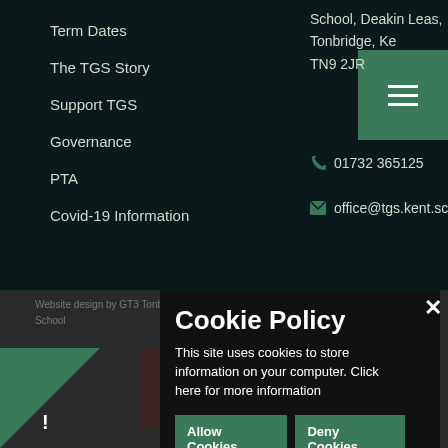Term Dates
The TGS Story
Support TGS
Governance
PTA
Covid-19 Information
School, Deakin Leas, Tonbridge, Kent TN9 2JR
01732 365125
office@tgs.kent.sch.uk
[Figure (screenshot): Green hamburger menu button]
Cookie Policy
This site uses cookies to store information on your computer. Click here for more information
Allow Cookies
Deny Cookies
Website design by GT3 Tonbridge Grammar School
Sitemap
[Figure (illustration): Warning exclamation mark icon]